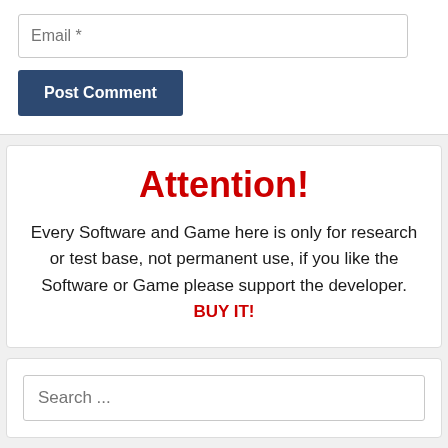Email *
Post Comment
Attention!
Every Software and Game here is only for research or test base, not permanent use, if you like the Software or Game please support the developer. BUY IT!
Search ...